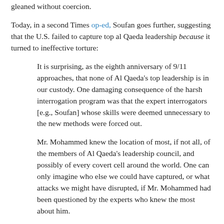gleaned without coercion.
Today, in a second Times op-ed, Soufan goes further, suggesting that the U.S. failed to capture top al Qaeda leadership because it turned to ineffective torture:
It is surprising, as the eighth anniversary of 9/11 approaches, that none of Al Qaeda’s top leadership is in our custody. One damaging consequence of the harsh interrogation program was that the expert interrogators [e.g., Soufan] whose skills were deemed unnecessary to the new methods were forced out.
Mr. Mohammed knew the location of most, if not all, of the members of Al Qaeda’s leadership council, and possibly of every covert cell around the world. One can only imagine who else we could have captured, or what attacks we might have disrupted, if Mr. Mohammed had been questioned by the experts who knew the most about him.